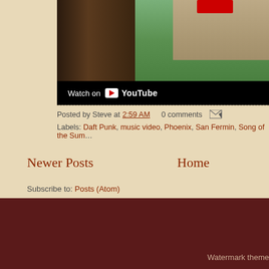[Figure (screenshot): YouTube embedded video showing a tree and abandoned building with Watch on YouTube bar at bottom]
Posted by Steve at 2:59 AM   0 comments
Labels: Daft Punk, music video, Phoenix, San Fermin, Song of the Sum...
Newer Posts
Home
Subscribe to: Posts (Atom)
Watermark theme